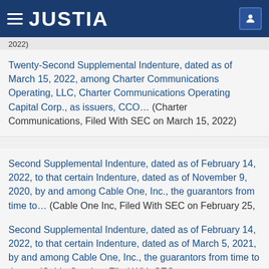JUSTIA
2022)
Twenty-Second Supplemental Indenture, dated as of March 15, 2022, among Charter Communications Operating, LLC, Charter Communications Operating Capital Corp., as issuers, CCO… (Charter Communications, Filed With SEC on March 15, 2022)
Second Supplemental Indenture, dated as of February 14, 2022, to that certain Indenture, dated as of November 9, 2020, by and among Cable One, Inc., the guarantors from time to… (Cable One Inc, Filed With SEC on February 25, 2022)
Second Supplemental Indenture, dated as of February 14, 2022, to that certain Indenture, dated as of March 5, 2021, by and among Cable One, Inc., the guarantors from time to time… (Cable One Inc, Filed With SEC on